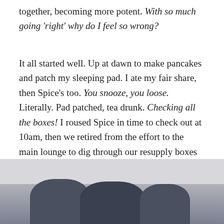together, becoming more potent. With so much going 'right' why do I feel so wrong?
It all started well. Up at dawn to make pancakes and patch my sleeping pad. I ate my fair share, then Spice's too. You snooze, you loose. Literally. Pad patched, tea drunk. Checking all the boxes! I roused Spice in time to check out at 10am, then we retired from the effort to the main lounge to dig through our resupply boxes and jettison the excess food. I transferred my shoelaces to a new pair of Lone Peaks, then we headed to town.
[Figure (photo): Bottom portion of a photo showing what appears to be hiking boots or shoes on a light-colored surface, partially visible at the bottom of the page.]